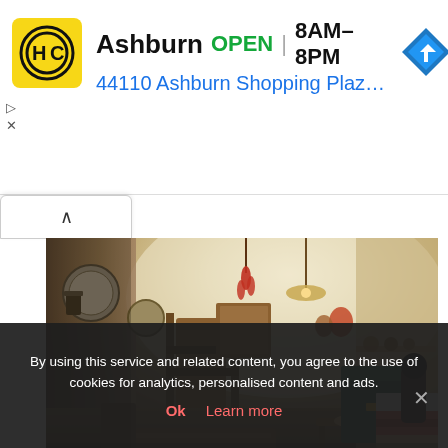[Figure (infographic): Ad banner: HC logo (yellow square with HC text), Ashburn OPEN 8AM-8PM, address 44110 Ashburn Shopping Plaza 190, A..., blue navigation arrow diamond icon]
[Figure (photo): Interior of a cave dwelling with whitewashed stone walls and arched ceiling, filled with antique wooden furniture, hanging kitchenware, tools, a striped bedspread, and suspended chandelier]
By using this service and related content, you agree to the use of cookies for analytics, personalised content and ads.
Ok   Learn more